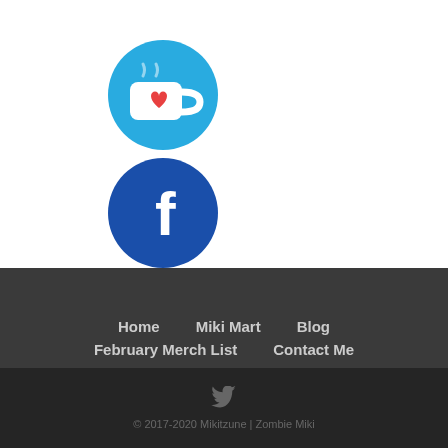[Figure (logo): Ko-fi icon: teal circle with white coffee cup and red heart]
[Figure (logo): Facebook icon: dark blue circle with white lowercase f]
Home   Miki Mart   Blog   February Merch List   Contact Me
[Figure (logo): Twitter bird icon in dark gray]
© 2017-2020 Mikitzune | Zombie Miki